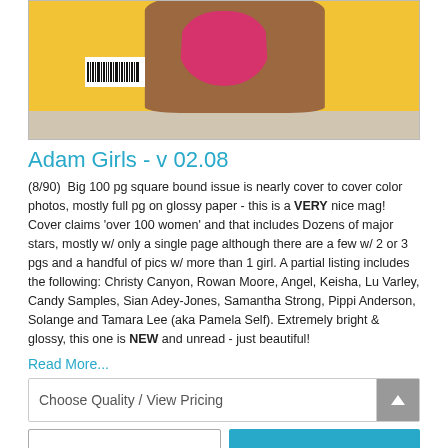[Figure (photo): Cropped magazine cover showing a figure in a pink swimsuit against a yellow background, with a barcode visible on the left side. The bottom of the image shows a light gray/beige strip.]
Adam Girls - v 02.08
(8/90)  Big 100 pg square bound issue is nearly cover to cover color photos, mostly full pg on glossy paper - this is a VERY nice mag! Cover claims 'over 100 women' and that includes Dozens of major stars, mostly w/ only a single page although there are a few w/ 2 or 3 pgs and a handful of pics w/ more than 1 girl. A partial listing includes the following: Christy Canyon, Rowan Moore, Angel, Keisha, Lu Varley, Candy Samples, Sian Adey-Jones, Samantha Strong, Pippi Anderson, Solange and Tamara Lee (aka Pamela Self). Extremely bright & glossy, this one is NEW and unread - just beautiful!
Read More...
Choose Quality / View Pricing